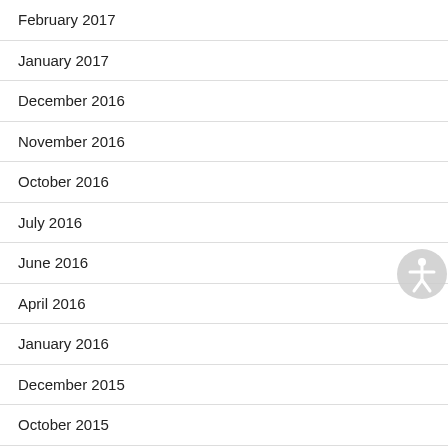February 2017
January 2017
December 2016
November 2016
October 2016
July 2016
June 2016
April 2016
January 2016
December 2015
October 2015
September 2015
August 2015